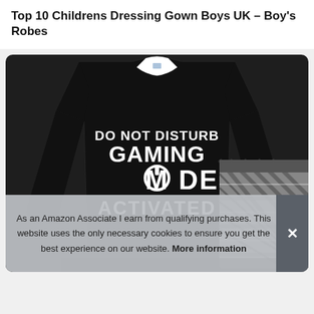Top 10 Childrens Dressing Gown Boys UK – Boy's Robes
[Figure (photo): Product photo of a black long-sleeve children's top with white text reading 'DO NOT DISTURB GAMING MODE ACTIVATED', displayed alongside black and white plaid/tartan shorts, on a dark background.]
As an Amazon Associate I earn from qualifying purchases. This website uses the only necessary cookies to ensure you get the best experience on our website. More information